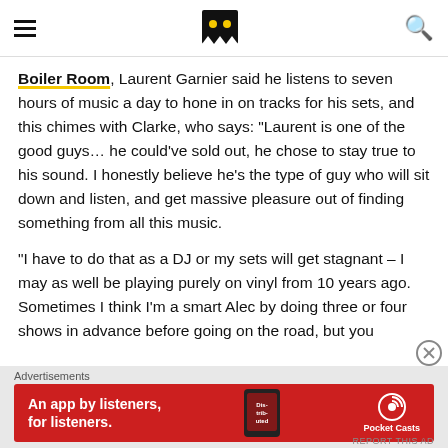Mixmag header with hamburger menu, logo, and search icon
Boiler Room, Laurent Garnier said he listens to seven hours of music a day to hone in on tracks for his sets, and this chimes with Clarke, who says: "Laurent is one of the good guys… he could've sold out, he chose to stay true to his sound. I honestly believe he's the type of guy who will sit down and listen, and get massive pleasure out of finding something from all this music.
"I have to do that as a DJ or my sets will get stagnant – I may as well be playing purely on vinyl from 10 years ago. Sometimes I think I'm a smart Alec by doing three or four shows in advance before going on the road, but you
Advertisements
[Figure (other): Red banner advertisement for Pocket Casts app reading 'An app by listeners, for listeners.' with phone image showing 'Distributed' text]